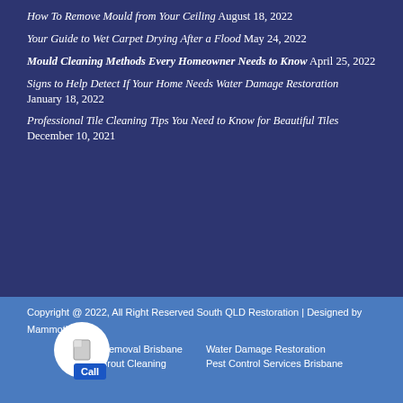How To Remove Mould from Your Ceiling August 18, 2022
Your Guide to Wet Carpet Drying After a Flood May 24, 2022
Mould Cleaning Methods Every Homeowner Needs to Know April 25, 2022
Signs to Help Detect If Your Home Needs Water Damage Restoration January 18, 2022
Professional Tile Cleaning Tips You Need to Know for Beautiful Tiles December 10, 2021
Copyright @ 2022, All Right Reserved South QLD Restoration | Designed by Mammoth
Mould Removal Brisbane   Water Damage Restoration
Tile & Grout Cleaning   Pest Control Services Brisbane